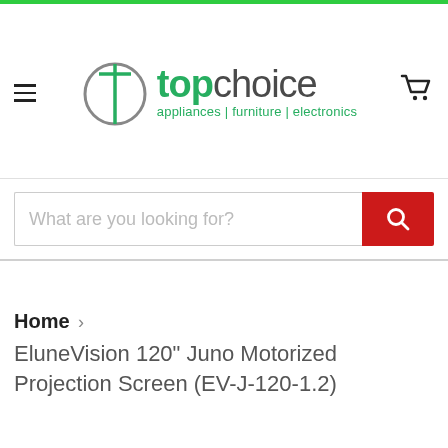[Figure (logo): Top Choice appliances | furniture | electronics logo with circular T emblem]
What are you looking for?
Home › EluneVision 120" Juno Motorized Projection Screen (EV-J-120-1.2)